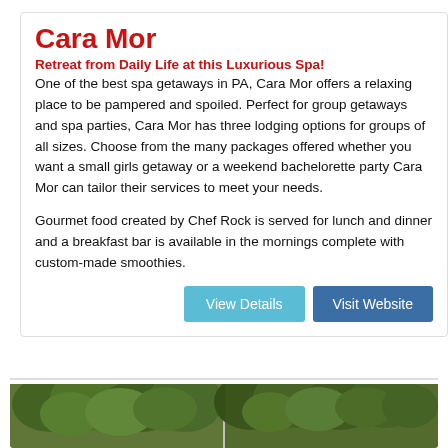Cara Mor
Retreat from Daily Life at this Luxurious Spa!
One of the best spa getaways in PA, Cara Mor offers a relaxing place to be pampered and spoiled. Perfect for group getaways and spa parties, Cara Mor has three lodging options for groups of all sizes. Choose from the many packages offered whether you want a small girls getaway or a weekend bachelorette party Cara Mor can tailor their services to meet your needs.
Gourmet food created by Chef Rock is served for lunch and dinner and a breakfast bar is available in the mornings complete with custom-made smoothies.
View Details   Visit Website
[Figure (photo): Two outdoor photos showing trees and green foliage at Cara Mor spa property]